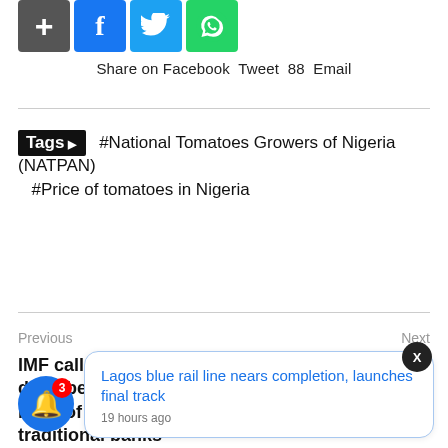[Figure (infographic): Social share icons: plus, Facebook, Twitter, WhatsApp]
Share on Facebook  Tweet  88  Email
Tags ▶ #National Tomatoes Growers of Nigeria (NATPAN) #Price of tomatoes in Nigeria
Previous
Next
IMF calls for policies to drive benefits, curb risks of neobanks on traditional banks
United Capital in good start as Q1'22 earnings jump 35% to N4.21bn
Lagos blue rail line nears completion, launches final track
19 hours ago